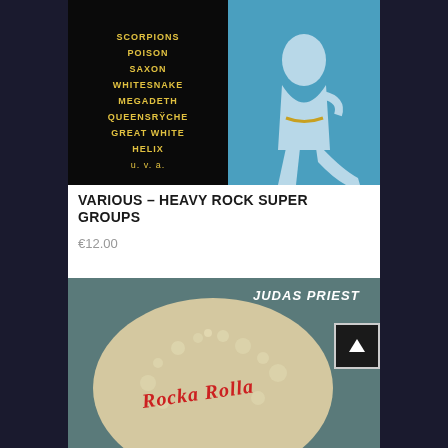[Figure (photo): Album cover for 'Heavy Rock Super Groups' various artists compilation. Black left panel lists band names: SCORPIONS, POISON, SAXON, WHITESNAKE, MEGADETH, QUEENSRŸCHE, GREAT WHITE, HELIX, u.v.a. Right side shows illustrated blue figure of a woman in heels on blue background.]
VARIOUS – HEAVY ROCK SUPER GROUPS
€12.00
[Figure (photo): Judas Priest album cover 'Rocka Rolla'. Shows a wet, beaded surface (close-up of a can or ball) with 'Rocka Rolla' written in red script. 'JUDAS PRIEST' text in white bold italic in upper right corner.]